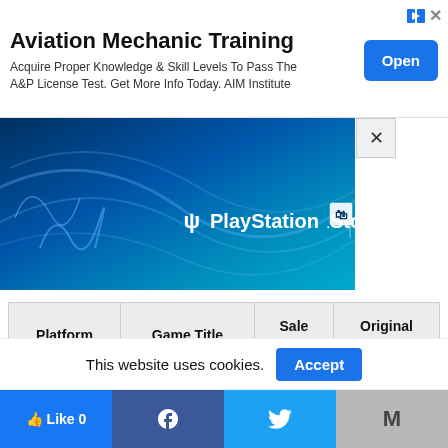[Figure (screenshot): Advertisement banner for Aviation Mechanic Training by AIM Institute with an 'Open' button]
[Figure (screenshot): PlayStation Store promotional banner with blue gradient background and PlayStation logo]
| Platform | Game Title | Sale
Price | Original
Price |
| --- | --- | --- | --- |
| PS4 | Daylight | $7.50 | $14.99 |
|  |  |  |  |
This website uses cookies.
[Figure (screenshot): Social sharing bar with Like, Facebook, Twitter, and Gmail buttons]